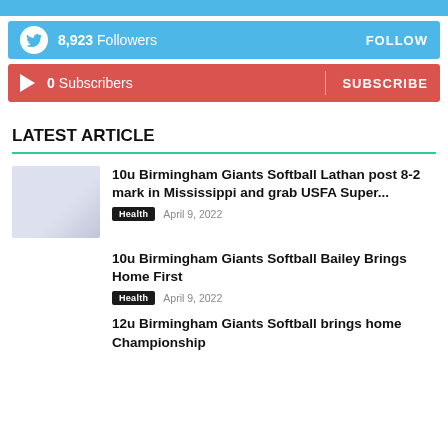[Figure (infographic): Twitter followers bar: 8,923 Followers with FOLLOW button]
[Figure (infographic): YouTube subscribers bar: 0 Subscribers with SUBSCRIBE button]
LATEST ARTICLE
[Figure (photo): Thumbnail image for article about Birmingham Giants Softball]
10u Birmingham Giants Softball Lathan post 8-2 mark in Mississippi and grab USFA Super...
Health  April 9, 2022
10u Birmingham Giants Softball Bailey Brings Home First
Health  April 9, 2022
12u Birmingham Giants Softball brings home Championship